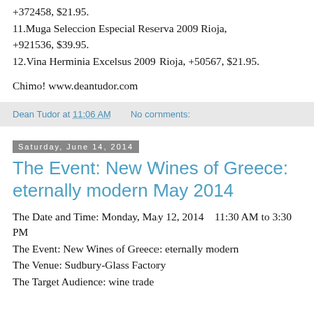+372458, $21.95.
11.Muga Seleccion Especial Reserva 2009 Rioja, +921536, $39.95.
12.Vina Herminia Excelsus 2009 Rioja, +50567, $21.95.
Chimo! www.deantudor.com
Dean Tudor at 11:06 AM   No comments:
Saturday, June 14, 2014
The Event: New Wines of Greece: eternally modern May 2014
The Date and Time: Monday, May 12, 2014   11:30 AM to 3:30 PM
The Event: New Wines of Greece: eternally modern
The Venue: Sudbury-Glass Factory
The Target Audience: wine trade